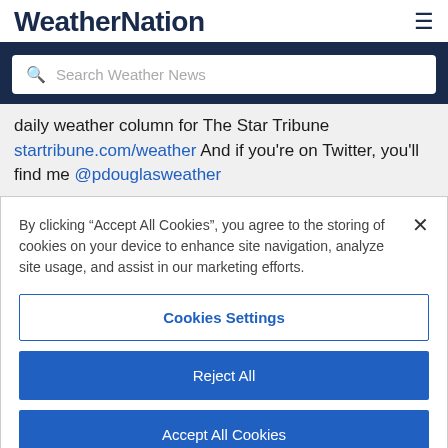WeatherNation
Search Weather News
daily weather column for The Star Tribune startribune.com/weather And if you're on Twitter, you'll find me @pdouglasweather
By clicking "Accept All Cookies", you agree to the storing of cookies on your device to enhance site navigation, analyze site usage, and assist in our marketing efforts.
Cookies Settings
Reject All
Accept All Cookies